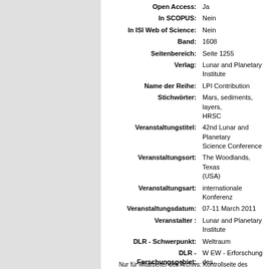| Label | Value |
| --- | --- |
| Open Access: | Ja |
| In SCOPUS: | Nein |
| In ISI Web of Science: | Nein |
| Band: | 1608 |
| Seitenbereich: | Seite 1255 |
| Verlag: | Lunar and Planetary Institute |
| Name der Reihe: | LPI Contribution |
| Stichwörter: | Mars, sediments, layers, HRSC |
| Veranstaltungstitel: | 42nd Lunar and Planetary Science Conference |
| Veranstaltungsort: | The Woodlands, Texas (USA) |
| Veranstaltungsart: | internationale Konferenz |
| Veranstaltungsdatum: | 07-11 March 2011 |
| Veranstalter : | Lunar and Planetary Institute |
| DLR - Schwerpunkt: | Weltraum |
| DLR - Forschungsgebiet: | W EW - Erforschung des Weltraums |
| Standort: | Berlin-Adlershof |
| Institute & Einrichtungen: | Institut für Planetenforschung > Planetengeologie |
Nur für Mitarbeiter des Archivs: Kontrollseite des